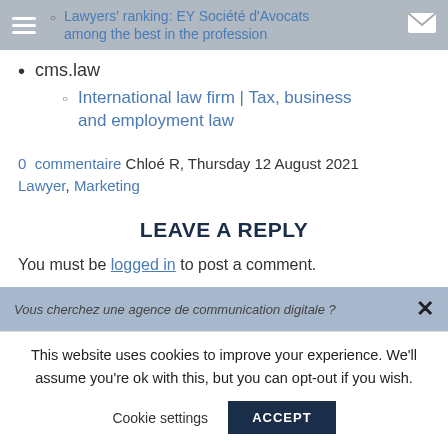Navigation bar with hamburger menu, sub-item link: Lawyers' ranking: EY Société d'Avocats among the best in the profession, and envelope icon
cms.law
International law firm | Tax, business and employment law
0 commentaire Chloé R, Thursday 12 August 2021 Lawyer, Marketing
LEAVE A REPLY
You must be logged in to post a comment.
Vous cherchez une agence de communication digitale ?
This website uses cookies to improve your experience. We'll assume you're ok with this, but you can opt-out if you wish.
Cookie settings  ACCEPT